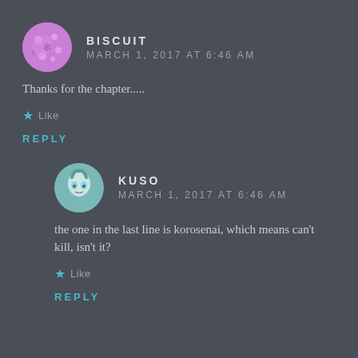[Figure (illustration): Round avatar with pink/purple background and decorative anime-style illustration for user Biscuit]
BISCUIT
MARCH 1, 2017 AT 6:46 AM
Thanks for the chapter.....
★ Like
REPLY
[Figure (illustration): Round avatar with teal-haired anime character for user Kuso]
KUSO
MARCH 1, 2017 AT 6:46 AM
the one in the last line is korosenai, which means can't kill, isn't it?
★ Like
REPLY